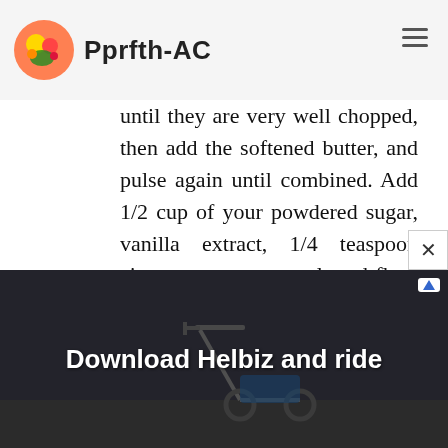Pprfth-AC
until they are very well chopped, then add the softened butter, and pulse again until combined. Add 1/2 cup of your powdered sugar, vanilla extract, 1/4 teaspoon cinnamon, nutmeg, salt and flour and pulse until an even dough is formed.
[No food processor? Chop-chop-chop those chestnuts as fine as you can, then use an electric mixer to whip the butter and 1/2 cup powdered sugar. Add the vanilla, 1/4 teaspoon
[Figure (photo): Advertisement banner showing a scooter/kick-scooter with text 'Download Helbiz and ride']